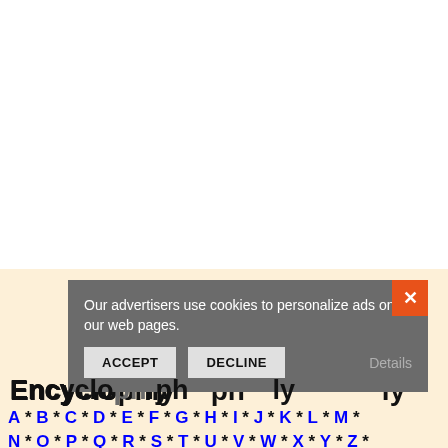[Figure (screenshot): Cookie consent overlay dialog on a web page with Accept and Decline buttons, an orange X close button, and a Details link. Text reads: Our advertisers use cookies to personalize ads on our web pages.]
Encyclopedia of photography
A * B * C * D * E * F * G * H * I * J * K * L * M *
N * O * P * Q * R * S * T * U * V * W * X * Y * Z *